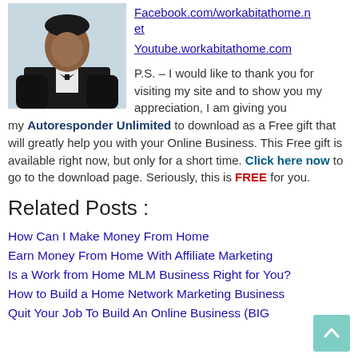[Figure (photo): Photo of a man in a black suit and bow tie]
Facebook.com/workabitathome.net
Youtube.workabitathome.com
P.S. – I would like to thank you for visiting my site and to show you my appreciation, I am giving you my Autoresponder Unlimited to download as a Free gift that will greatly help you with your Online Business. This Free gift is available right now, but only for a short time. Click here now to go to the download page. Seriously, this is FREE for you.
Related Posts :
How Can I Make Money From Home
Earn Money From Home With Affiliate Marketing
Is a Work from Home MLM Business Right for You?
How to Build a Home Network Marketing Business
Quit Your Job To Build An Online Business (BIG